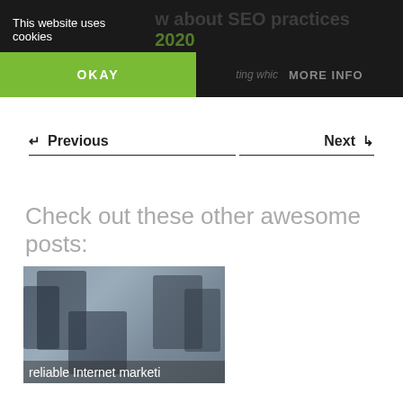This website uses cookies
OKAY
MORE INFO
← Previous
Next ↳
Check out these other awesome posts:
[Figure (photo): Group of people working together at a computer, with overlaid text 'reliable Internet marketi...']